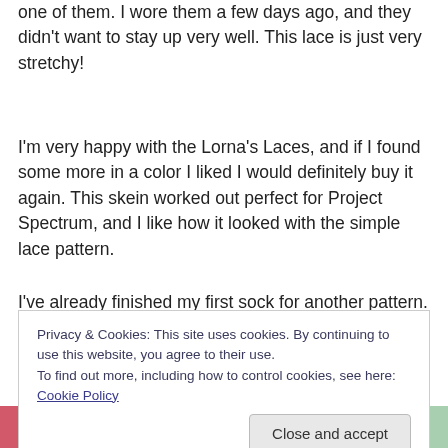one of them.  I wore them a few days ago, and they didn't want to stay up very well.  This lace is just very stretchy!
I'm very happy with the Lorna's Laces, and if I found some more in a color I liked I would definitely buy it again.  This skein worked out perfect for Project Spectrum, and I like how it looked with the simple lace pattern.
I've already finished my first sock for another pattern.
Privacy & Cookies: This site uses cookies. By continuing to use this website, you agree to their use.
To find out more, including how to control cookies, see here: Cookie Policy
[Figure (photo): Colorful photo strip at the bottom of the page showing yarn or socks in pink, red, green, and yellow tones.]